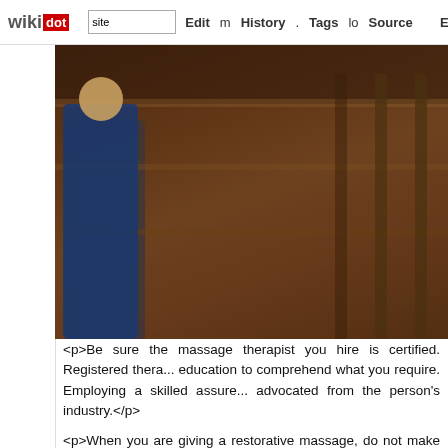wikidot | site | Edit | History | Tags | Source | Explore | Share on [Twitter]
[Figure (photo): Photo of a person in a dark indoor setting with wooden walls/panels in the background, person appears to be wearing blue clothing]
<p>Be sure the massage therapist you hire is certified. Registered thera... education to comprehend what you require. Employing a skilled assure... advocated from the person's industry.</p>
<p>When you are giving a restorative massage, do not make use of th... time again. Every One Of The Advantages Of Receiving A Typical Therap... experience mundane, as you wish to add all the modify throughout t... strategy, the heart stroke and the way tough you push around the again, m...</p>
<p> Get A Lean Body Having An Exceptional Restorative massage is ea... for instance, utilized to support asthmatic youngsters, minimize migraine... To obtain the best from your massage therapy, it is essential that you h... length.</p>
<p>The pace of your own hands and wrists is essential for the level of m... to get a therapeutic massage to unwind your companion, choose slow-m... fatigued muscles which have been over exerted, speedier cerebral vascu...</p>
<p>If you are a girl, don't swear off of men massage practitioners. As mo... uncomfortable facing a men masseuse. However, some women do h...</p>